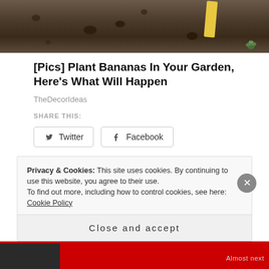[Figure (photo): Close-up photo of dark garden soil with a yellow shovel handle and small green plant visible]
[Pics] Plant Bananas In Your Garden, Here's What Will Happen
TheDecorIdeas
SHARE THIS:
Twitter
Facebook
Loading...
Privacy & Cookies: This site uses cookies. By continuing to use this website, you agree to their use.
To find out more, including how to control cookies, see here: Cookie Policy
Close and accept